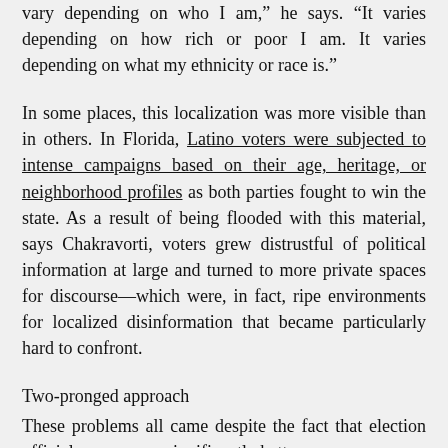vary depending on who I am," he says. "It varies depending on how rich or poor I am. It varies depending on what my ethnicity or race is."
In some places, this localization was more visible than in others. In Florida, Latino voters were subjected to intense campaigns based on their age, heritage, or neighborhood profiles as both parties fought to win the state. As a result of being flooded with this material, says Chakravorti, voters grew distrustful of political information at large and turned to more private spaces for discourse—which were, in fact, ripe environments for localized disinformation that became particularly hard to confront.
Two-pronged approach
These problems all came despite the fact that election officials were more significantly better